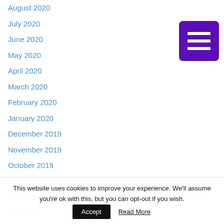August 2020
July 2020
[Figure (other): Purple menu/hamburger icon button with three horizontal white lines]
June 2020
May 2020
April 2020
March 2020
February 2020
January 2020
December 2019
November 2019
October 2019
September 2019
August 2019
July 2019
This website uses cookies to improve your experience. We'll assume you're ok with this, but you can opt-out if you wish. Accept Read More